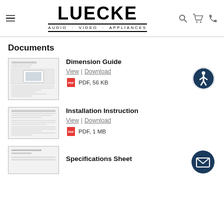Luecke Audio Video Appliances
Documents
Dimension Guide
View | Download
PDF, 56 KB
Installation Instruction
View | Download
PDF, 1 MB
Specifications Sheet